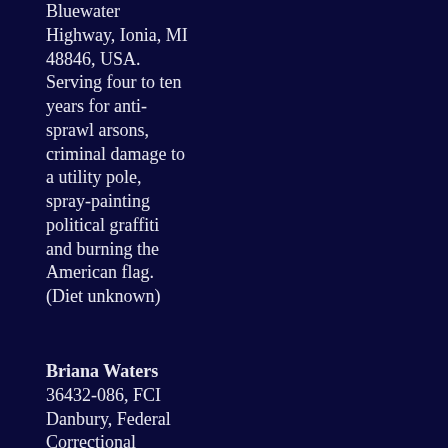Bluewater Highway, Ionia, MI 48846, USA. Serving four to ten years for anti-sprawl arsons, criminal damage to a utility pole, spray-painting political graffiti and burning the American flag. (Diet unknown)
Briana Waters
36432-086, FCI Danbury, Federal Correctional Institution, Route 37, Danbury, CT 06811, USA. Serving six years